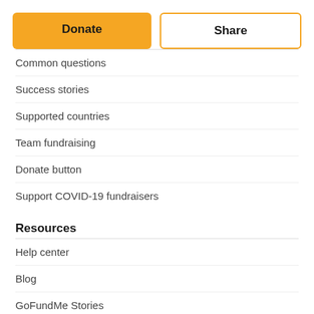[Figure (screenshot): Two buttons: 'Donate' (filled orange/yellow) and 'Share' (outlined with yellow border)]
Common questions
Success stories
Supported countries
Team fundraising
Donate button
Support COVID-19 fundraisers
Resources
Help center
Blog
GoFundMe Stories